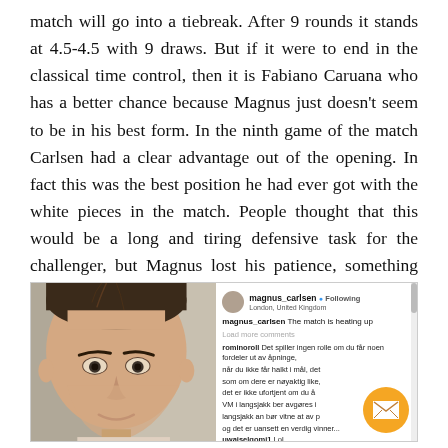match will go into a tiebreak. After 9 rounds it stands at 4.5-4.5 with 9 draws. But if it were to end in the classical time control, then it is Fabiano Caruana who has a better chance because Magnus just doesn't seem to be in his best form. In the ninth game of the match Carlsen had a clear advantage out of the opening. In fact this was the best position he had ever got with the white pieces in the match. People thought that this would be a long and tiring defensive task for the challenger, but Magnus lost his patience, something which he never really does, and the game ended in a draw. Let's have a look at how the events transpired.
[Figure (screenshot): A screenshot showing a close-up photo of Magnus Carlsen's face on the left side, and an Instagram post on the right side. The Instagram post is from magnus_carlsen, Following, London, United Kingdom. Caption: 'magnus_carlsen The match is heating up'. Comments include 'rominorol1: Det spiller ingen rolle om du får noen fordeler ut av åpninge, når du ikke får halkt i mål, det som om dere er nøyaktig like, det er ikke ufortjent om du å, VM i langsjakk ber avgøres i, langsjakk an bør vitne at av p, og det er uansett en verdig vinner...' and 'uwaiselqomi1 Lol'. There is an orange circular email/envelope button in the bottom right corner.]